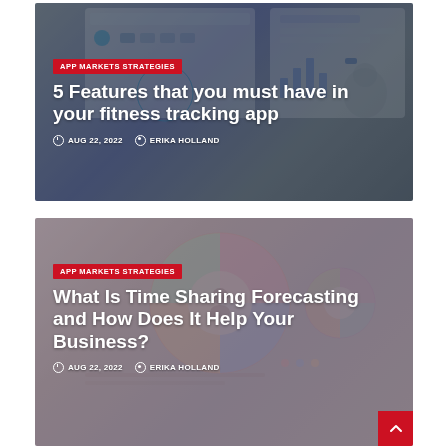[Figure (screenshot): Blog card with fitness tracking app screenshots overlaid, dark blue-gray background with UI elements]
APP MARKETS STRATEGIES
5 Features that you must have in your fitness tracking app
AUG 22, 2022   ERIKA HOLLAND
[Figure (screenshot): Blog card with colorful circular chart/infographic elements, pink-purple pastel background]
APP MARKETS STRATEGIES
What Is Time Sharing Forecasting and How Does It Help Your Business?
AUG 22, 2022   ERIKA HOLLAND